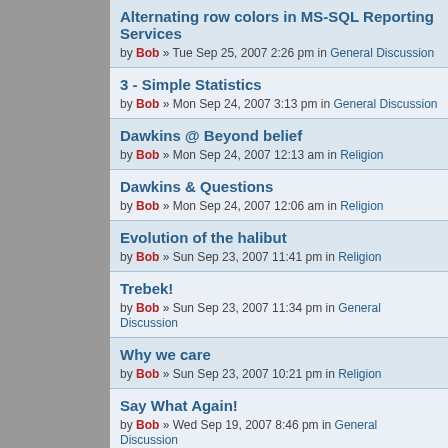Alternating row colors in MS-SQL Reporting Services by Bob » Tue Sep 25, 2007 2:26 pm in General Discussion
3 - Simple Statistics by Bob » Mon Sep 24, 2007 3:13 pm in General Discussion
Dawkins @ Beyond belief by Bob » Mon Sep 24, 2007 12:13 am in Religion
Dawkins & Questions by Bob » Mon Sep 24, 2007 12:06 am in Religion
Evolution of the halibut by Bob » Sun Sep 23, 2007 11:41 pm in Religion
Trebek! by Bob » Sun Sep 23, 2007 11:34 pm in General Discussion
Why we care by Bob » Sun Sep 23, 2007 10:21 pm in Religion
Say What Again! by Bob » Wed Sep 19, 2007 8:46 pm in General Discussion
I just don't know... by Bob » Wed Sep 19, 2007 8:38 pm in Religion
An Exceptional Reason To Learn Perl by Bob » Mon Sep 17, 2007 3:34 pm in General Discussion
The Way of The Master by Bob » Sun Sep 16, 2007 1:42 pm in Religion